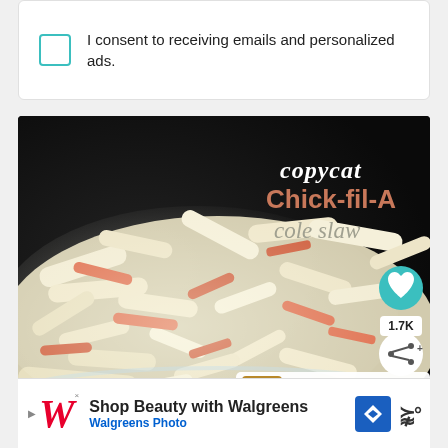I consent to receiving emails and personalized ads.
[Figure (photo): Copycat Chick-fil-A cole slaw recipe photo showing a bowl of creamy coleslaw with shredded cabbage and carrots, overlaid with title text and social sharing buttons. Includes a 'What's Next' thumbnail for KFC Coleslaw Recipe.]
[Figure (screenshot): Walgreens advertisement banner: 'Shop Beauty with Walgreens / Walgreens Photo' with Walgreens logo and navigation icon]